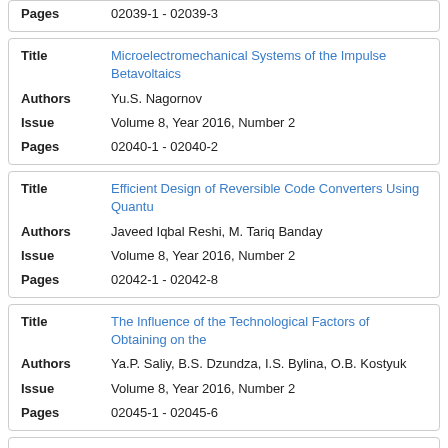| Pages | 02039-1 - 02039-3 |
| Title | Microelectromechanical Systems of the Impulse Betavoltaics |
| Authors | Yu.S. Nagornov |
| Issue | Volume 8, Year 2016, Number 2 |
| Pages | 02040-1 - 02040-2 |
| Title | Efficient Design of Reversible Code Converters Using Quantum |
| Authors | Javeed Iqbal Reshi, M. Tariq Banday |
| Issue | Volume 8, Year 2016, Number 2 |
| Pages | 02042-1 - 02042-8 |
| Title | The Influence of the Technological Factors of Obtaining on the |
| Authors | Ya.P. Saliy, B.S. Dzundza, I.S. Bylina, O.B. Kostyuk |
| Issue | Volume 8, Year 2016, Number 2 |
| Pages | 02045-1 - 02045-6 |